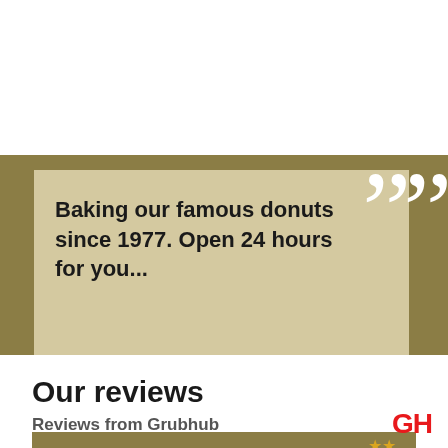[Figure (screenshot): Olive/khaki banner background with a beige quote box containing donut shop tagline, and a large white closing quotation mark decorative element]
Baking our famous donuts since 1977. Open 24 hours for you...
Our reviews
Reviews from Grubhub
[Figure (logo): GH Grubhub logo in red]
ORDER NOW
Top Reviewer